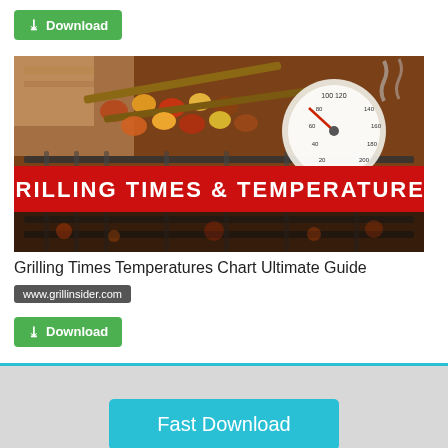[Figure (other): Green Download button at top of card]
[Figure (photo): Photo of grilled skewers on a barbecue grill with a meat thermometer, with a red banner overlay reading GRILLING TIMES & TEMPERATURES]
Grilling Times Temperatures Chart Ultimate Guide
www.grillinsider.com
[Figure (other): Green Download button at bottom of card]
[Figure (other): Cyan/teal Fast Download button at bottom of page]